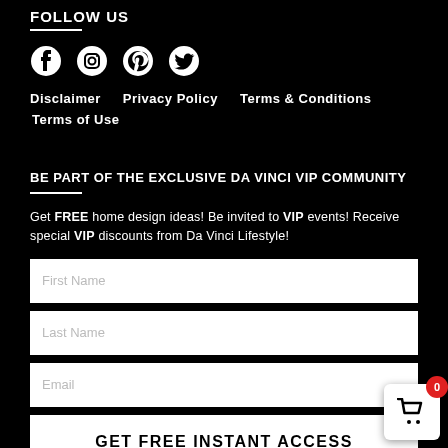FOLLOW US
[Figure (illustration): Social media icons: Facebook, Instagram, Pinterest, Twitter]
Disclaimer
Privacy Policy
Terms & Conditions
Terms of Use
BE PART OF THE EXCLUSIVE DA VINCI VIP COMMUNITY
Get FREE home design ideas! Be invited to VIP events! Receive special VIP discounts from Da Vinci Lifestyle!
First Name
Last Name
Email
GET FREE INSTANT ACCESS